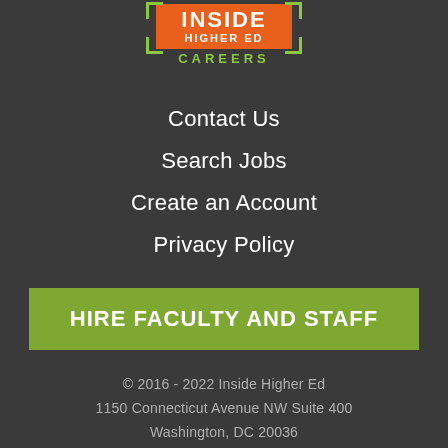[Figure (logo): Inside Higher Ed Careers logo with orange box containing INSIDE HIGHER ED text and green CAREERS text below, with green bracket marks on corners]
Contact Us
Search Jobs
Create an Account
Privacy Policy
HIRE FACULTY AND STAFF
© 2016 - 2022 Inside Higher Ed
1150 Connecticut Avenue NW Suite 400
Washington, DC 20036
Ph: 1-800-658-2000